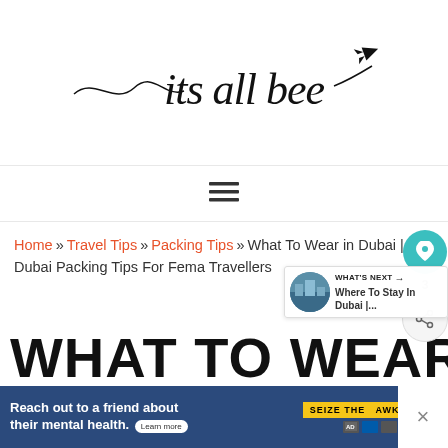its all bee — travel blog logo
[Figure (logo): its all bee script logo with decorative swash lines and small airplane icon]
[Figure (other): Hamburger navigation menu icon (three horizontal lines)]
Home » Travel Tips » Packing Tips » What To Wear in Dubai | Dubai Packing Tips For Fema Travellers
WHAT TO WEAR IN
[Figure (photo): What's Next thumbnail showing city view of Dubai]
WHAT'S NEXT → Where To Stay In Dubai |...
[Figure (screenshot): Advertisement bar: Reach out to a friend about their mental health. Learn more. SEIZE THE AWKWARD badge.]